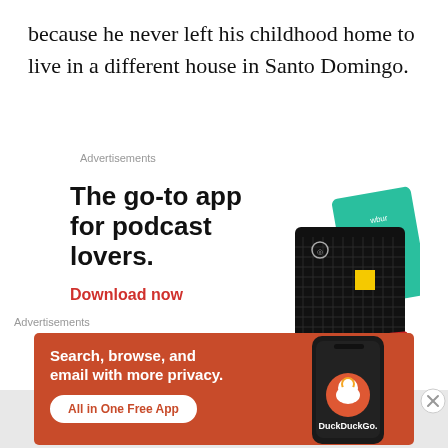because he never left his childhood home to live in a different house in Santo Domingo.
Advertisements
[Figure (illustration): Advertisement for a podcast app '99% Invisible' with bold headline 'The go-to app for podcast lovers.' and red 'Download now' call to action, with app card visuals on the right.]
Advertisements
[Figure (illustration): DuckDuckGo advertisement banner on orange/red background with text 'Search, browse, and email with more privacy.' and 'All in One Free App' button, with a phone showing DuckDuckGo app on the right.]